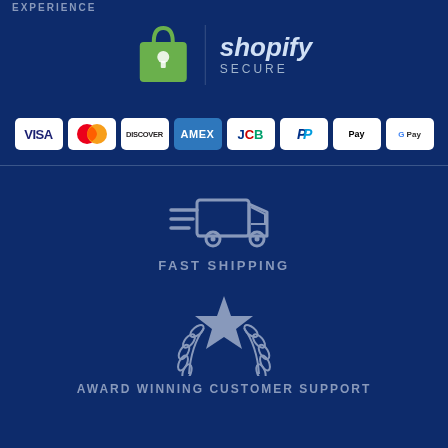[Figure (logo): Shopify Secure logo with green shopping bag icon and text 'shopify SECURE']
[Figure (infographic): Payment method badges: VISA, Mastercard, Discover, AMEX, JCB, PayPal, Apple Pay, Google Pay]
[Figure (illustration): Fast shipping icon: delivery truck with speed lines]
FAST SHIPPING
[Figure (illustration): Award winning customer support icon: star with laurel wreath]
AWARD WINNING CUSTOMER SUPPORT